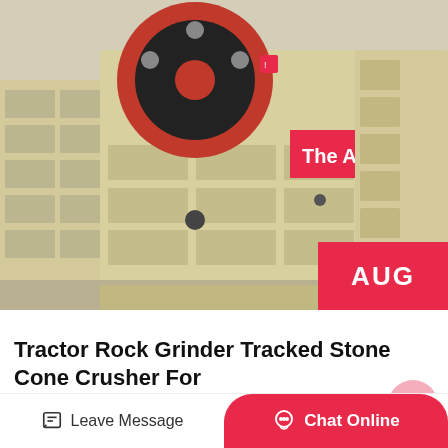[Figure (photo): Industrial jaw crusher / stone cone crusher machine with large red flywheel, beige/cream colored body with rectangular compartments, inside a factory building. A red banner partially visible top-right reads 'The Applic'.]
AUG
Tractor Rock Grinder Tracked Stone Cone Crusher For
Applications of tractor rock grinder tracked stone cone crusher for medicinal stone liparite . tractor rock grinder tracked stone cone
Leave Message
Chat Online